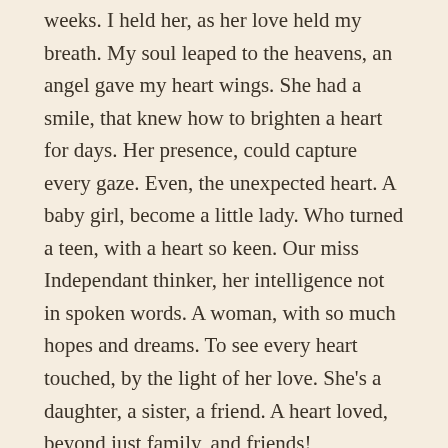weeks. I held her, as her love held my breath. My soul leaped to the heavens, an angel gave my heart wings. She had a smile, that knew how to brighten a heart for days. Her presence, could capture every gaze. Even, the unexpected heart. A baby girl, become a little lady. Who turned a teen, with a heart so keen. Our miss Independant thinker, her intelligence not in spoken words. A woman, with so much hopes and dreams. To see every heart touched, by the light of her love. She’s a daughter, a sister, a friend. A heart loved, beyond just family, and friends!
You Live!
You live, in our heart, in our soul. You live, because we won’t forget, we won’t let the memories fade. You live,